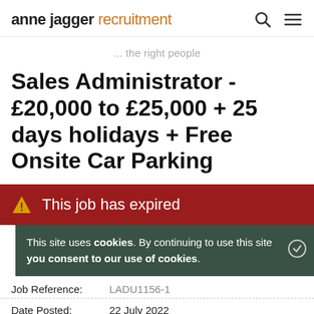anne jagger recruitment
... the right people
Sales Administrator - £20,000 to £25,000 + 25 days holidays + Free Onsite Car Parking
This job has expired
This site uses cookies. By continuing to use this site you consent to our use of cookies.
Job Reference: LADU1156-1
Date Posted: 22 July 2022